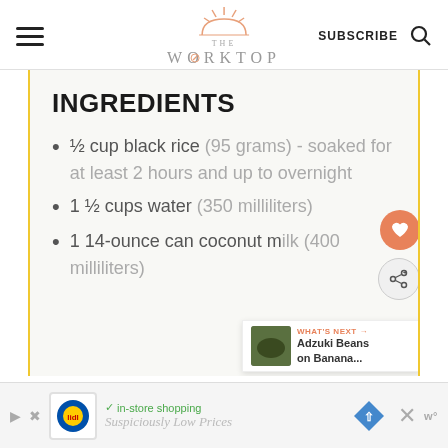THE WORKTOP | SUBSCRIBE
INGREDIENTS
½ cup black rice (95 grams) - soaked for at least 2 hours and up to overnight
1 ½ cups water (350 milliliters)
1 14-ounce can coconut milk (400 milliliters)